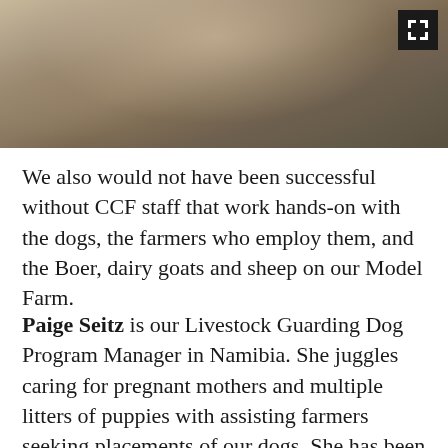[Figure (photo): A photograph showing a person or animal (likely a goat or dog) in an outdoor farm setting with sandy/brown tones. An expand/fullscreen icon appears in the top right corner of the image.]
We also would not have been successful without CCF staff that work hands-on with the dogs, the farmers who employ them, and the Boer, dairy goats and sheep on our Model Farm.
Paige Seitz is our Livestock Guarding Dog Program Manager in Namibia. She juggles caring for pregnant mothers and multiple litters of puppies with assisting farmers seeking placements of our dogs. She has been with CCF for five years, and does an amazing job, as have our previous dog managers. All of them have cared deeply for the